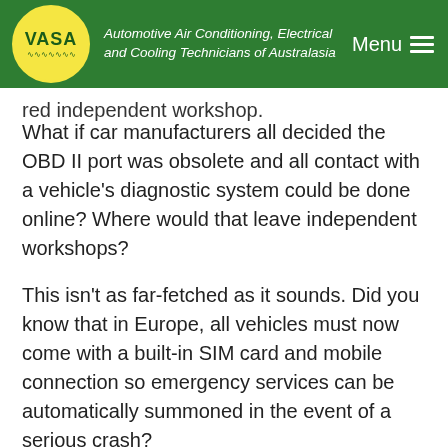VASA — Automotive Air Conditioning, Electrical and Cooling Technicians of Australasia | Menu
red independent workshop.
What if car manufacturers all decided the OBD II port was obsolete and all contact with a vehicle's diagnostic system could be done online? Where would that leave independent workshops?
This isn't as far-fetched as it sounds. Did you know that in Europe, all vehicles must now come with a built-in SIM card and mobile connection so emergency services can be automatically summoned in the event of a serious crash?
It's an initiative that will doubtless save lives, and telematics generally has many convenience benefits such as providing drivers with useful internet services on the move, such as real-time traffic congestion, road closure, weather or fuel price information.